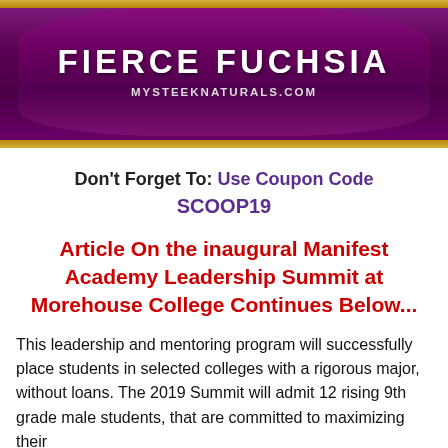[Figure (photo): Advertisement banner for Fierce Fuchsia product by Mysteeknaturals.com, showing a purple/maroon curved banner with gold border, text 'FIERCE FUCHSIA' in large white letters and 'MYSTEEKNATURALS.COM' below it.]
Don't Forget To: Use Coupon Code SCOOP19
Article On the inaugural Manifest Academy Leadership Summit at Morehouse College Continues Below...
This leadership and mentoring program will successfully place students in selected colleges with a rigorous major, without loans. The 2019 Summit will admit 12 rising 9th grade male students, that are committed to maximizing their